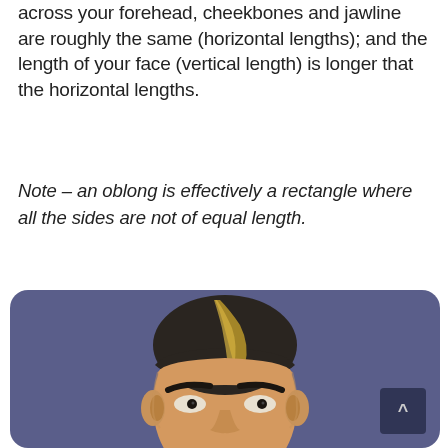across your forehead, cheekbones and jawline are roughly the same (horizontal lengths); and the length of your face (vertical length) is longer that the horizontal lengths.
Note – an oblong is effectively a rectangle where all the sides are not of equal length.
[Figure (illustration): Illustration of a man's face with oblong/rectangular face shape on a purple-blue rounded rectangle background, showing dark hair with a gold highlight streak, prominent eyebrows, and facial features. A dark square button with a caret (^) symbol appears in the lower right area of the image.]